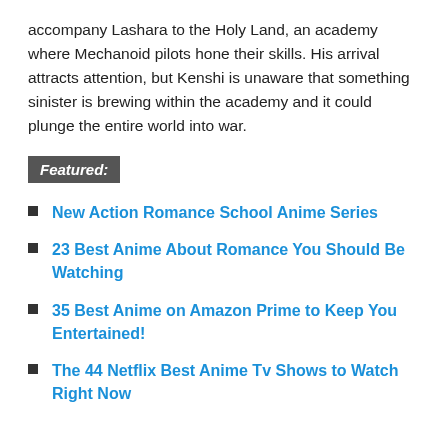accompany Lashara to the Holy Land, an academy where Mechanoid pilots hone their skills. His arrival attracts attention, but Kenshi is unaware that something sinister is brewing within the academy and it could plunge the entire world into war.
Featured:
New Action Romance School Anime Series
23 Best Anime About Romance You Should Be Watching
35 Best Anime on Amazon Prime to Keep You Entertained!
The 44 Netflix Best Anime Tv Shows to Watch Right Now